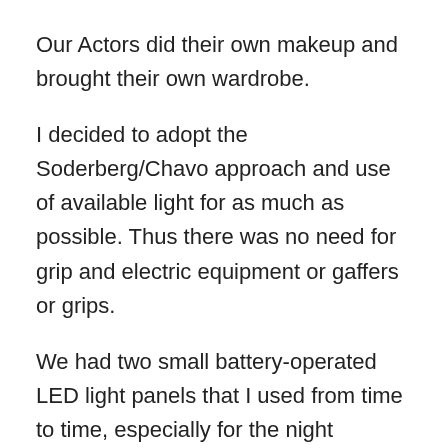Our Actors did their own makeup and brought their own wardrobe.
I decided to adopt the Soderberg/Chavo approach and use of available light for as much as possible. Thus there was no need for grip and electric equipment or gaffers or grips.
We had two small battery-operated LED light panels that I used from time to time, especially for the night exteriors. The only exception was the bar scene at the comedy club scene where I had rented a two-bulb KinoFlow in addition to my light panels.